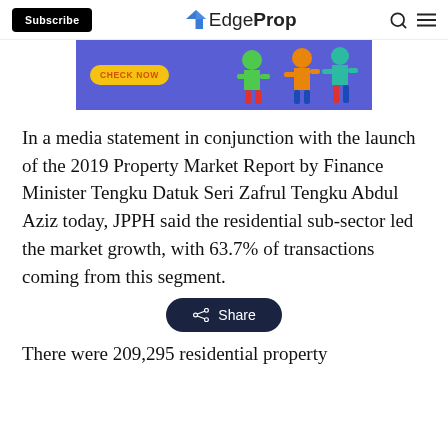Subscribe | EdgeProp
[Figure (illustration): Banner advertisement with purple background showing 'CHECK NOW' button and cartoon character figures]
In a media statement in conjunction with the launch of the 2019 Property Market Report by Finance Minister Tengku Datuk Seri Zafrul Tengku Abdul Aziz today, JPPH said the residential sub-sector led the market growth, with 63.7% of transactions coming from this segment.
There were 209,295 residential property